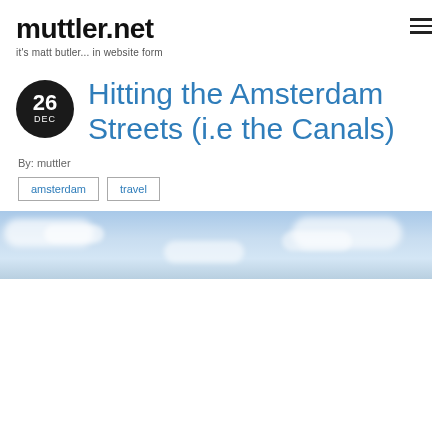muttler.net
it's matt butler... in website form
Hitting the Amsterdam Streets (i.e the Canals)
By: muttler
amsterdam
travel
[Figure (photo): Sky with clouds, blue gradient, partial view of photo at bottom of page]